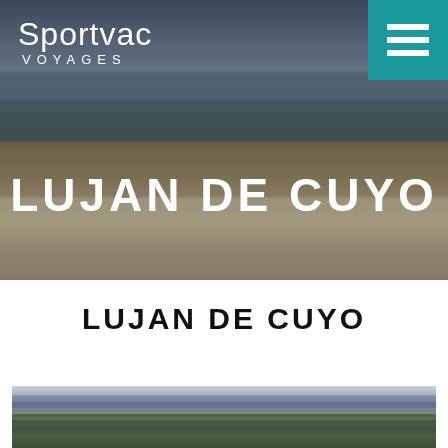[Figure (photo): Hero banner with mountain landscape, outdoor cushions and table scene, teal menu icon, Sportvac Voyages logo, and LUJAN DE CUYO title overlay]
LUJAN DE CUYO
[Figure (photo): Panoramic mountain landscape photo showing mountain range with sky and green foreground]